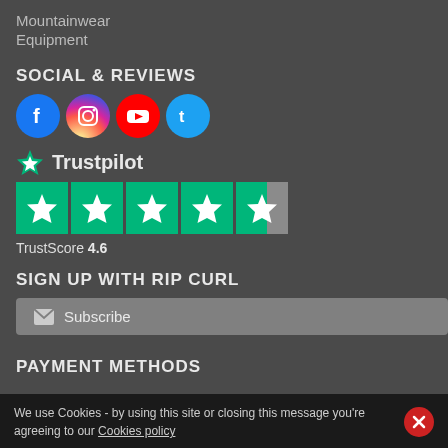Mountainwear
Equipment
SOCIAL & REVIEWS
[Figure (illustration): Four social media icons in circles: Facebook (blue), Instagram (gradient), YouTube (red), Twitter (light blue)]
[Figure (logo): Trustpilot logo with green star and text 'Trustpilot']
[Figure (other): Trustpilot 5-star rating widget showing 4 full green stars and 1 partially filled star (about 60%)]
TrustScore 4.6
SIGN UP WITH RIP CURL
Subscribe
PAYMENT METHODS
We use Cookies - by using this site or closing this message you're agreeing to our Cookies policy